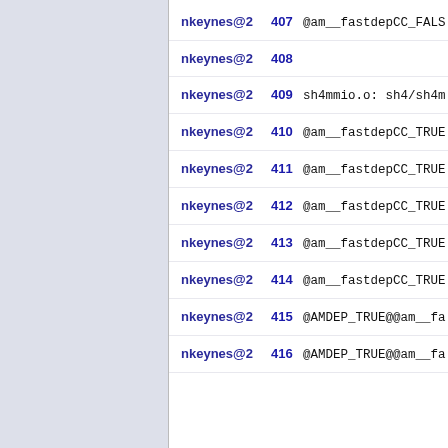nkeynes@2  407 @am__fastdepCC_FALS
nkeynes@2  408
nkeynes@2  409 sh4mmio.o: sh4/sh4m
nkeynes@2  410 @am__fastdepCC_TRUE
nkeynes@2  411 @am__fastdepCC_TRUE
nkeynes@2  412 @am__fastdepCC_TRUE
nkeynes@2  413 @am__fastdepCC_TRUE
nkeynes@2  414 @am__fastdepCC_TRUE
nkeynes@2  415 @AMDEP_TRUE@@am__fa
nkeynes@2  416 @AMDEP_TRUE@@am__fa